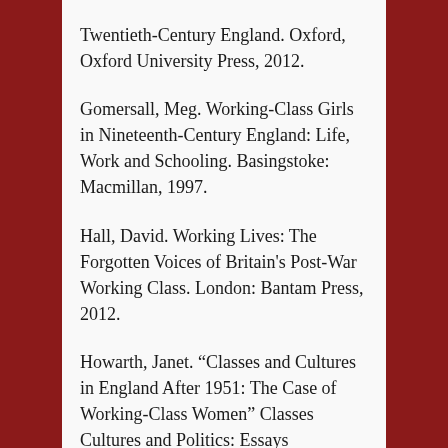Twentieth-Century England. Oxford, Oxford University Press, 2012.
Gomersall, Meg. Working-Class Girls in Nineteenth-Century England: Life, Work and Schooling. Basingstoke: Macmillan, 1997.
Hall, David. Working Lives: The Forgotten Voices of Britain’s Post-War Working Class. London: Bantam Press, 2012.
Howarth, Janet. “Classes and Cultures in England After 1951: The Case of Working-Class Women” Classes Cultures and Politics: Essays